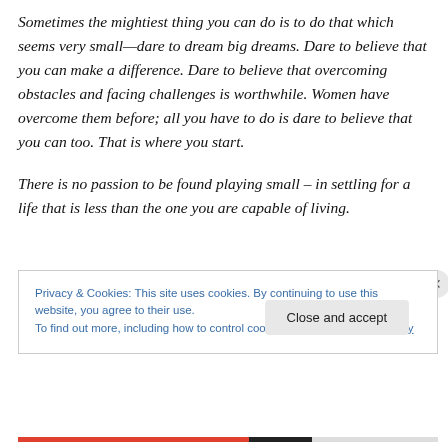Sometimes the mightiest thing you can do is to do that which seems very small—dare to dream big dreams. Dare to believe that you can make a difference. Dare to believe that overcoming obstacles and facing challenges is worthwhile. Women have overcome them before; all you have to do is dare to believe that you can too. That is where you start.

There is no passion to be found playing small – in settling for a life that is less than the one you are capable of living.
Privacy & Cookies: This site uses cookies. By continuing to use this website, you agree to their use.
To find out more, including how to control cookies, see here: Cookie Policy